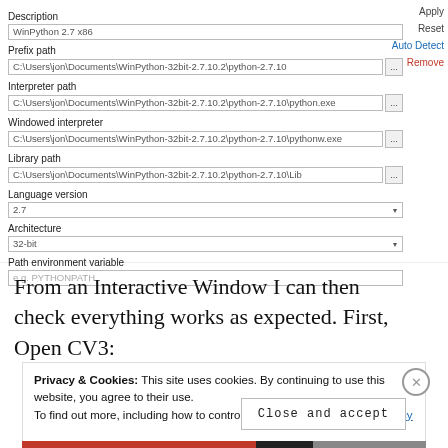[Figure (screenshot): Screenshot of a Python interpreter configuration form with fields: Description (WinPython 2.7 x86), Prefix path, Interpreter path, Windowed interpreter, Library path, Language version (2.7 dropdown), Architecture (32-bit dropdown), Path environment variable (placeholder: e.g. PYTHONPATH). Buttons on the right: Apply, Reset, Auto Detect, Remove.]
From an Interactive Window I can then check everything works as expected. First, Open CV3:
Privacy & Cookies: This site uses cookies. By continuing to use this website, you agree to their use. To find out more, including how to control cookies, see here: Cookie Policy
Close and accept